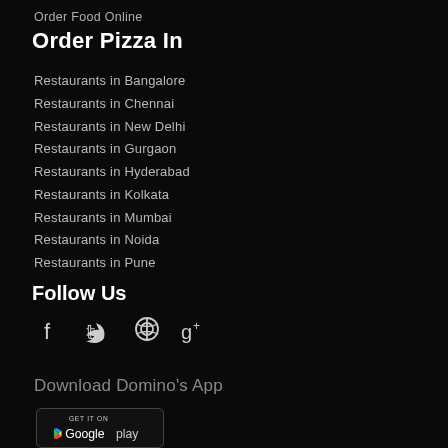Order Food Online
Order Pizza In
Restaurants in Bangalore
Restaurants in Chennai
Restaurants in New Delhi
Restaurants in Gurgaon
Restaurants in Hyderabad
Restaurants in Kolkata
Restaurants in Mumbai
Restaurants in Noida
Restaurants in Pune
Follow Us
[Figure (infographic): Social media icons: Facebook, Twitter, Pinterest, Google+]
Download Domino's App
[Figure (infographic): Google Play badge: GET IT ON Google play]